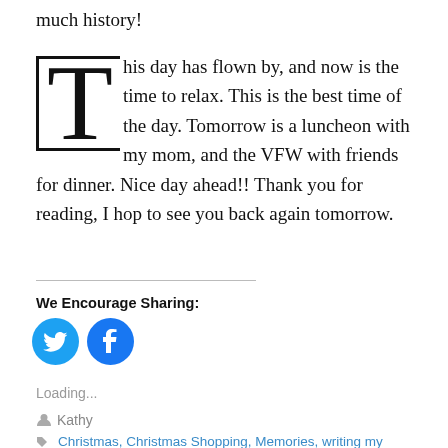much history!
This day has flown by, and now is the time to relax. This is the best time of the day. Tomorrow is a luncheon with my mom, and the VFW with friends for dinner. Nice day ahead!! Thank you for reading, I hop to see you back again tomorrow.
We Encourage Sharing:
[Figure (illustration): Twitter and Facebook share buttons (circular blue icons)]
Loading...
Kathy
Christmas, Christmas Shopping, Memories, writing my